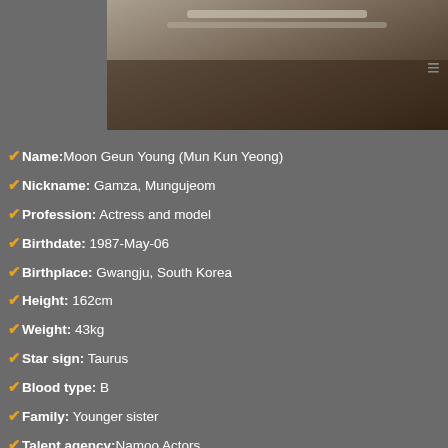[Figure (photo): Partial photo of a person, cropped at top, dark background]
Name: Moon Geun Young (Mun Kun Yeong)
Nickname: Gamza, Mungujeom
Profession: Actress and model
Birthdate: 1987-May-06
Birthplace: Gwangju, South Korea
Height: 162cm
Weight: 43kg
Star sign: Taurus
Blood type: B
Family: Younger sister
Talent agency: Namoo Actors
Dramas